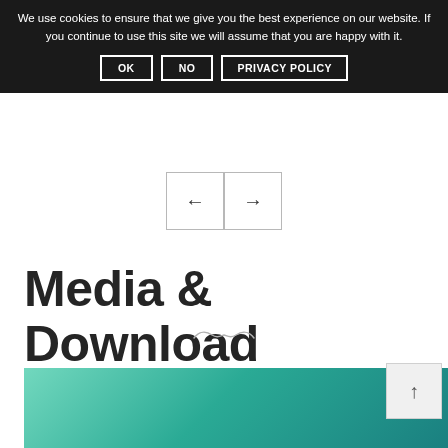We use cookies to ensure that we give you the best experience on our website. If you continue to use this site we will assume that you are happy with it.
OK  NO  PRIVACY POLICY
[Figure (other): Navigation arrows: left arrow button and right arrow button]
Media & Download
[Figure (illustration): Decorative swirl/flourish divider]
[Figure (photo): Teal/green gradient background image area, partially visible at bottom of page]
[Figure (other): Scroll-to-top button with upward arrow]